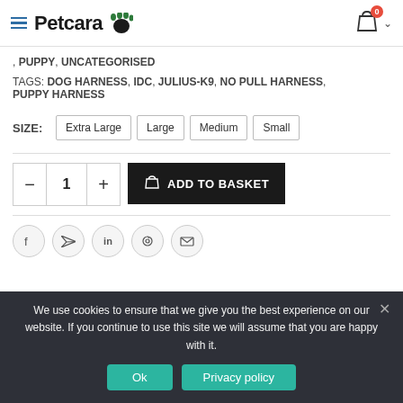Petcara
, PUPPY, UNCATEGORISED
TAGS: DOG HARNESS, IDC, JULIUS-K9, NO PULL HARNESS, PUPPY HARNESS
SIZE: Extra Large  Large  Medium  Small
Quantity: 1  ADD TO BASKET
[Figure (infographic): Social sharing icons: Facebook, Twitter, LinkedIn, Pinterest, Email]
We use cookies to ensure that we give you the best experience on our website. If you continue to use this site we will assume that you are happy with it.